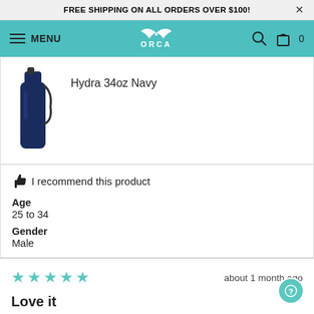FREE SHIPPING ON ALL ORDERS OVER $100!
[Figure (logo): ORCA brand logo in white on teal navigation bar with hamburger menu, search icon, and cart icon]
[Figure (photo): Hydra 34oz Navy water bottle product image]
Hydra 34oz Navy
👍 I recommend this product
Age
25 to 34
Gender
Male
about 1 month ago
Love it
Love it! Keeps water/ice cold all day. The screw to spout is exactly what I was looking for. And the